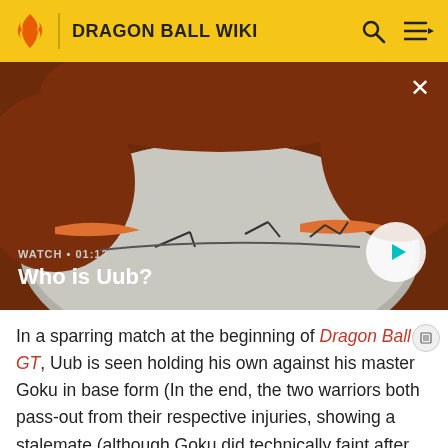DRAGON BALL WIKI
[Figure (screenshot): Anime screenshot of a large creature's fist/belly area, brownish red tones with grey wrinkled knuckles. Video player overlay showing WATCH • 01:12 and title 'Who is Uub?' with a play button.]
In a sparring match at the beginning of Dragon Ball GT, Uub is seen holding his own against his master Goku in base form (In the end, the two warriors both pass-out from their respective injuries, showing a stalemate (although Goku did technically faint after Uub while